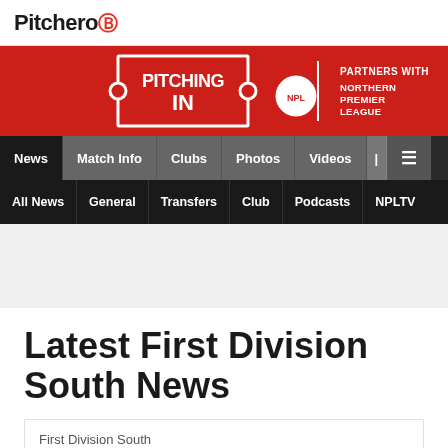Pitchero
[Figure (logo): Pitching In - Partners with Northern Premier League banner on red background]
News | Match Info | Clubs | Photos | Videos | ≡
All News | General | Transfers | Club | Podcasts | NPLTV
Latest First Division South News
First Division South